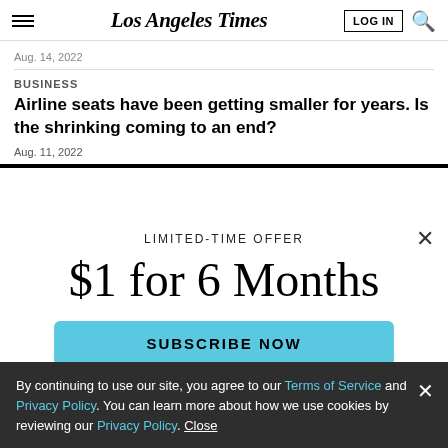Los Angeles Times
Aug. 14, 2022
BUSINESS
Airline seats have been getting smaller for years. Is the shrinking coming to an end?
Aug. 11, 2022
LIMITED-TIME OFFER
$1 for 6 Months
SUBSCRIBE NOW
By continuing to use our site, you agree to our Terms of Service and Privacy Policy. You can learn more about how we use cookies by reviewing our Privacy Policy. Close